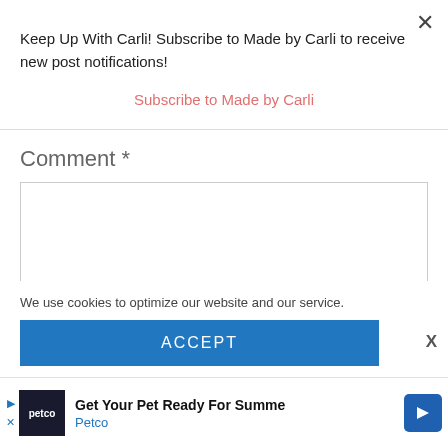Keep Up With Carli! Subscribe to Made by Carli to receive new post notifications!
Subscribe to Made by Carli
Comment *
We use cookies to optimize our website and our service.
ACCEPT
[Figure (screenshot): Petco advertisement banner: Get Your Pet Ready For Summer - Petco]
Get Your Pet Ready For Summe
Petco